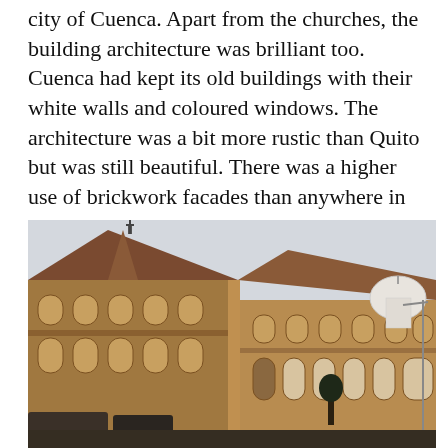city of Cuenca. Apart from the churches, the building architecture was brilliant too. Cuenca had kept its old buildings with their white walls and coloured windows. The architecture was a bit more rustic than Quito but was still beautiful. There was a higher use of brickwork facades than anywhere in South America.
[Figure (photo): Street-level photograph of a large historic brick building in Cuenca, Ecuador, with ornate facade, arched windows and doorways, a pointed tower topped with a cross, and a white church dome visible in the background. Cars and pedestrians at street level.]